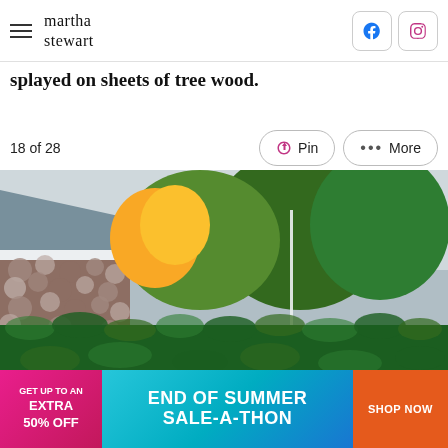martha stewart
splayed on sheets of tree wood.
18 of 28
[Figure (photo): Outdoor garden photo showing a neatly trimmed dark green hedge in the foreground, a stone wall building on the left, and tall green trees (evergreen and deciduous with some fall color) in the background under a cloudy sky.]
[Figure (infographic): Advertisement banner: GET UP TO AN EXTRA 50% OFF | END OF SUMMER SALE-A-THON | SHOP NOW]